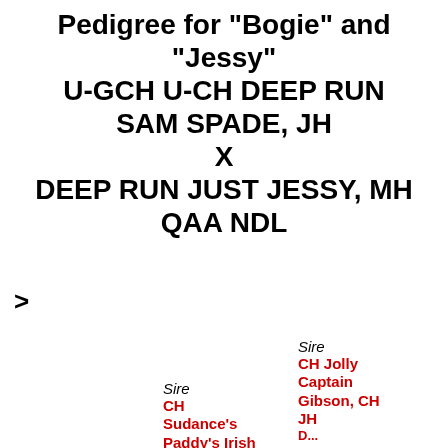Pedigree for "Bogie" and "Jessy" U-GCH U-CH DEEP RUN SAM SPADE, JH X DEEP RUN JUST JESSY, MH QAA NDL
>
Sire
CH Jolly Captain Gibson, CH JH D...
Sire
CH Sudance's Paddy's Irish...